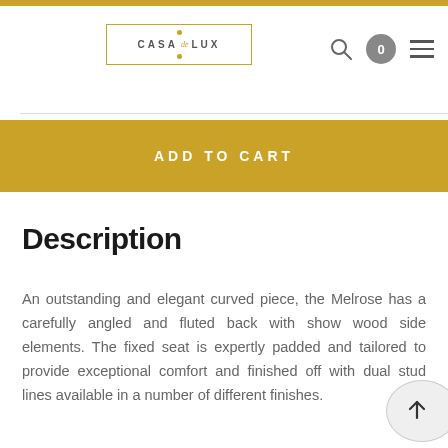CASA de LUX
ADD TO CART
Description
An outstanding and elegant curved piece, the Melrose has a carefully angled and fluted back with show wood side elements. The fixed seat is expertly padded and tailored to provide exceptional comfort and finished off with dual stud lines available in a number of different finishes.